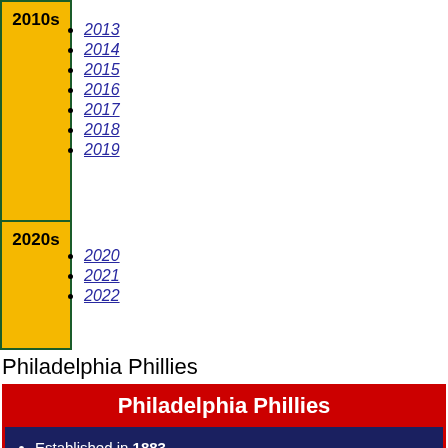2013
2014
2015
2016
2017
2018
2019
2020
2021
2022
Philadelphia Phillies
| Philadelphia Phillies |
| --- |
| Established in 1883 |
| Formerly the Philadelphia Quakers |
| Based in Philadelphia, Pennsylvania |
History
Seasons
Records
Players
Owners and executives
Managers
Broadcasters